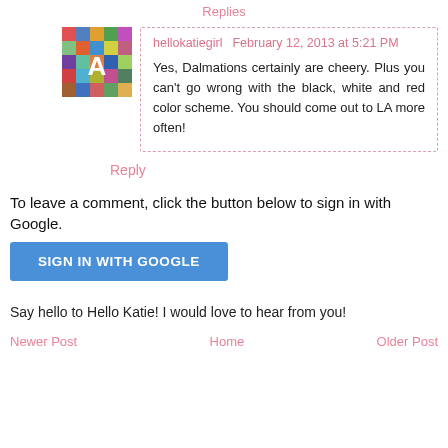Replies
[Figure (photo): Colorful mosaic avatar image for user hellokatiegirl]
hellokatiegirl     February 12, 2013 at 5:21 PM
Yes, Dalmations certainly are cheery. Plus you can't go wrong with the black, white and red color scheme. You should come out to LA more often!
Reply
To leave a comment, click the button below to sign in with Google.
SIGN IN WITH GOOGLE
Say hello to Hello Katie! I would love to hear from you!
Newer Post     Home     Older Post